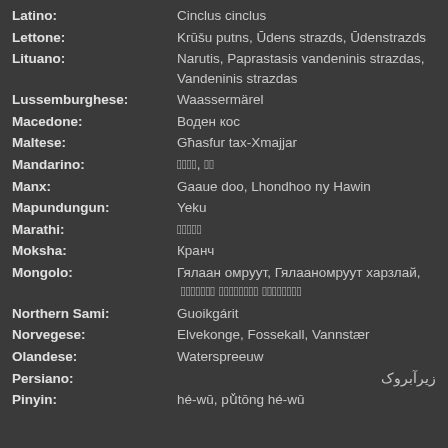Latino: Cinclus cinclus
Lettone: Krūšu putns, Ūdens strazds, Ūdenstrazds
Lituano: Narutis, Paprastasis vandeninis strazdas, Vandeninis strazdas
Lussemburghese: Waassermärel
Macedone: Воден кос
Maltese: Għasfur tax-Xmajjar
Mandarino: 河鸟, 鸟
Manx: Gaaue doo, Lhondhoo ny Hawin
Mapundungun: Yeku
Marathi: डिपर
Moksha: Кранч
Mongolo: Гялаан омруут, Гялааномруут харзлай, ᠭᠶᠠᠯᠠᠭᠠᠨ ᠣᠮᠷᠤᠤᠲ ᠬᠠᠷᠵᠠᠯᠠᠢ
Northern Sami: Guoikgárit
Norvegese: Elvekonge, Fossekall, Vannstær
Olandese: Waterspreeuw
Persiano: زیرآبروک
Pinyin: hé-wū, pǔtōng hé-wū